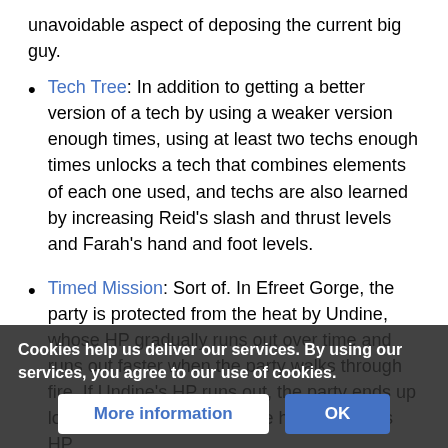unavoidable aspect of deposing the current big guy.
Tech Tree: In addition to getting a better version of a tech by using a weaker version enough times, using at least two techs enough times unlocks a tech that combines elements of each one used, and techs are also learned by increasing Reid's slash and thrust levels and Farah's hand and foot levels.
Timed Mission: Sort of. In Efreet Gorge, the party is protected from the heat by Undine, whose HP gradually runs out over time and runs out faster when the party walks through fire. If Undine's HP runs out, the party ends up losing their own HP from the heat. Undine's HP can be restored by exiting and reentering the dungeon and fortunately, there's a Load Point at the entrance of this dungeon much like just about every other dungeon in the game, [partially obscured] HP is low.
Cookies help us deliver our services. By using our services, you agree to our use of cookies.